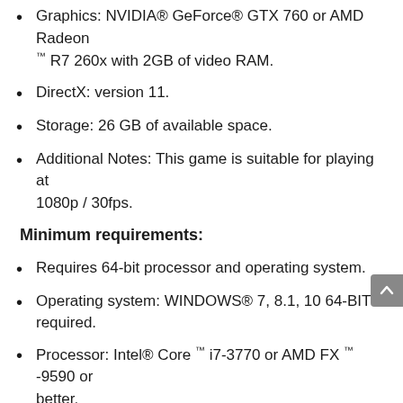Graphics: NVIDIA® GeForce® GTX 760 or AMD Radeon ™ R7 260x with 2GB of video RAM.
DirectX: version 11.
Storage: 26 GB of available space.
Additional Notes: This game is suitable for playing at 1080p / 30fps.
Minimum requirements:
Requires 64-bit processor and operating system.
Operating system: WINDOWS® 7, 8.1, 10 64-BIT required.
Processor: Intel® Core ™ i7-3770 or AMD FX ™ -9590 or better.
Memory: 8 GB of RAM.
Graphics: NVIDIA® GeForce® GTX 1060 or AMD Radeon